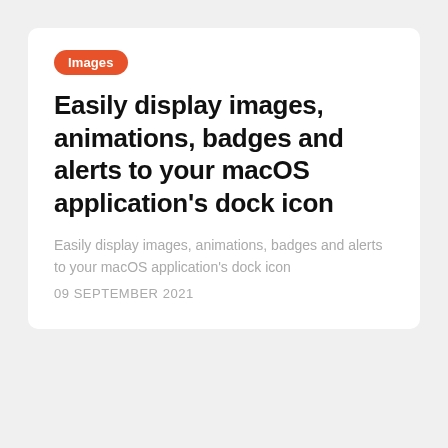Images
Easily display images, animations, badges and alerts to your macOS application's dock icon
Easily display images, animations, badges and alerts to your macOS application's dock icon
09 SEPTEMBER 2021